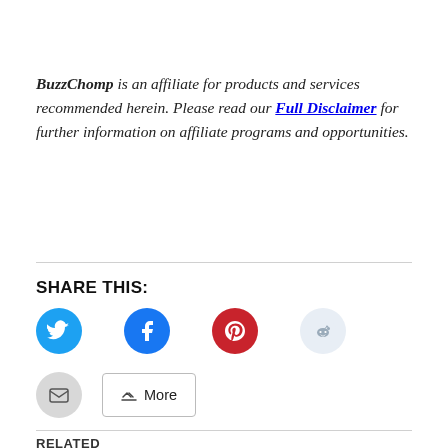BuzzChomp is an affiliate for products and services recommended herein. Please read our Full Disclaimer for further information on affiliate programs and opportunities.
SHARE THIS:
[Figure (infographic): Social sharing buttons: Twitter (cyan circle), Facebook (blue circle), Pinterest (red circle), Reddit (light blue circle), Email (grey circle), More button]
RELATED